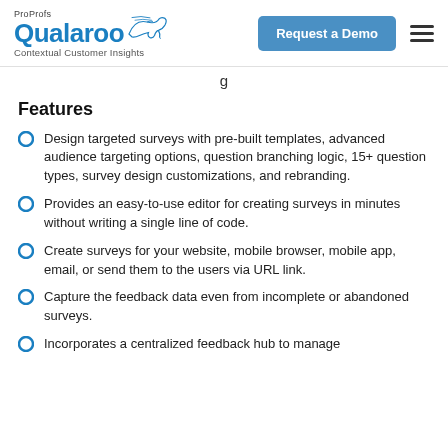ProProfs Qualaroo Contextual Customer Insights — Request a Demo
Features
Design targeted surveys with pre-built templates, advanced audience targeting options, question branching logic, 15+ question types, survey design customizations, and rebranding.
Provides an easy-to-use editor for creating surveys in minutes without writing a single line of code.
Create surveys for your website, mobile browser, mobile app, email, or send them to the users via URL link.
Capture the feedback data even from incomplete or abandoned surveys.
Incorporates a centralized feedback hub to manage